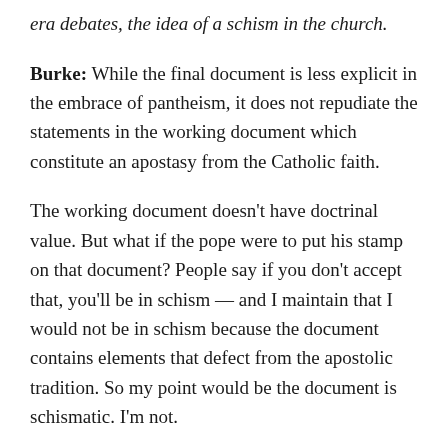era debates, the idea of a schism in the church.
Burke: While the final document is less explicit in the embrace of pantheism, it does not repudiate the statements in the working document which constitute an apostasy from the Catholic faith.
The working document doesn’t have doctrinal value. But what if the pope were to put his stamp on that document? People say if you don’t accept that, you’ll be in schism — and I maintain that I would not be in schism because the document contains elements that defect from the apostolic tradition. So my point would be the document is schismatic. I’m not.